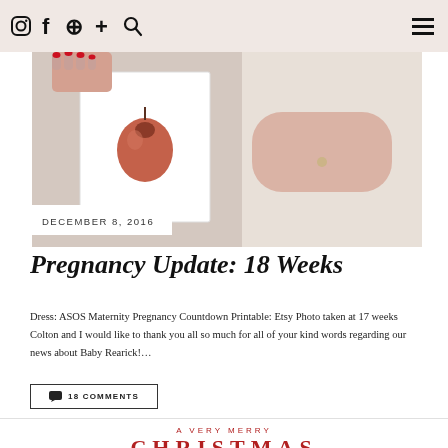Instagram Facebook Pinterest + Search | Menu
[Figure (photo): Pregnant woman in white t-shirt holding a white picture frame with an illustration of a pomegranate/onion inside; her belly is visible]
DECEMBER 8, 2016
Pregnancy Update: 18 Weeks
Dress: ASOS Maternity Pregnancy Countdown Printable: Etsy Photo taken at 17 weeks Colton and I would like to thank you all so much for all of your kind words regarding our news about Baby Rearick!…
💬 18 COMMENTS
A VERY MERRY
CHRISTMAS